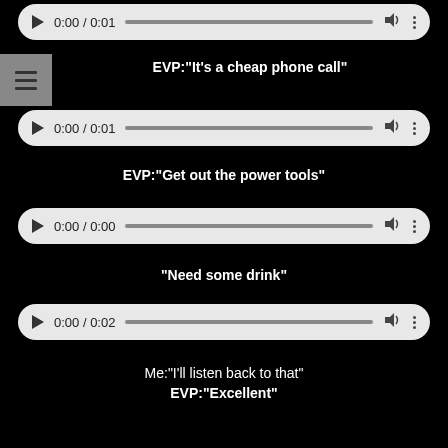[Figure (screenshot): Audio player bar showing 0:00 / 0:01]
EVP:"It's a cheap phone call"
[Figure (screenshot): Audio player bar showing 0:00 / 0:01]
EVP:"Get out the power tools"
[Figure (screenshot): Audio player bar showing 0:00 / 0:00]
“Need some drink”
[Figure (screenshot): Audio player bar showing 0:00 / 0:02]
Me:"I'll listen back to that"
EVP:"Excellent"